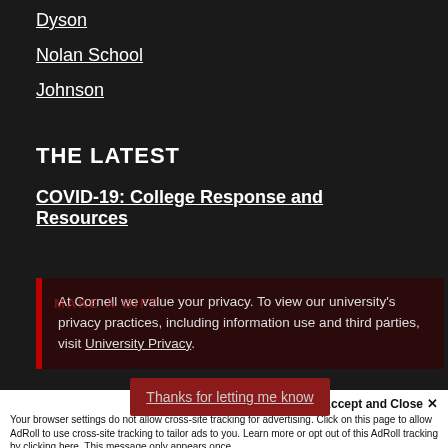Dyson
Nolan School
Johnson
THE LATEST
COVID-19: College Response and Resources
At Cornell we value your privacy. To view our university's privacy practices, including information use and third parties, visit University Privacy.
Thanks for letting me know
Your browser settings do not allow cross-site tracking for advertising. Click on this page to allow AdRoll to use cross-site tracking to tailor ads to you. Learn more or opt out of this AdRoll tracking by clicking here. This message only appears once.